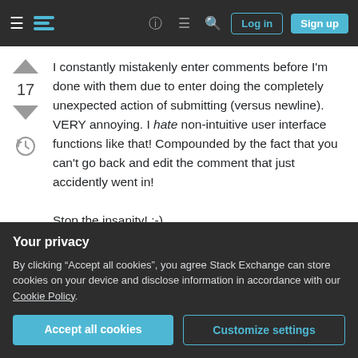Stack Exchange navigation bar with Log in and Sign up buttons
I constantly mistakenly enter comments before I'm done with them due to enter doing the completely unexpected action of submitting (versus newline). VERY annoying. I hate non-intuitive user interface functions like that! Compounded by the fact that you can't go back and edit the comment that just accidently went in!

Stop the insanity! :-)
Share    answered Oct 22, 2010 at 12:59
Your privacy
By clicking "Accept all cookies", you agree Stack Exchange can store cookies on your device and disclose information in accordance with our Cookie Policy.
Accept all cookies   Customize settings